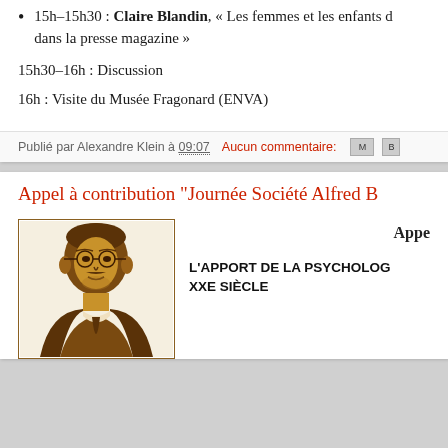15h–15h30 : Claire Blandin, « Les femmes et les enfants d[...] dans la presse magazine »
15h30–16h : Discussion
16h : Visite du Musée Fragonard (ENVA)
Publié par Alexandre Klein à 09:07   Aucun commentaire:
Appel à contribution "Journée Société Alfred B..."
[Figure (illustration): Portrait illustration of Alfred Binet in brown/sepia tones, line drawing style, within a rectangular border]
Appe
L'APPORT DE LA PSYCHOLOG... XXE SIÈCLE